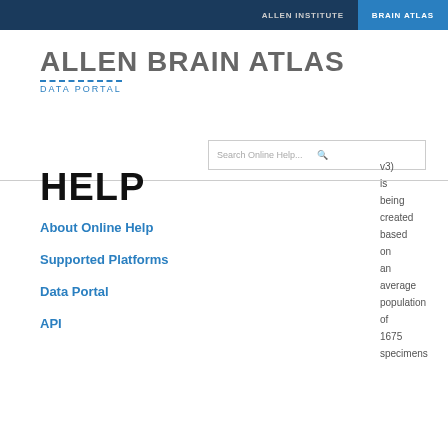ALLEN INSTITUTE   BRAIN ATLAS
ALLEN BRAIN ATLAS
DATA PORTAL
[Figure (other): Search Online Help... search box with magnifying glass icon]
HELP
About Online Help
Supported Platforms
Data Portal
API
v3) is being created based on an average population of 1675 specimens See